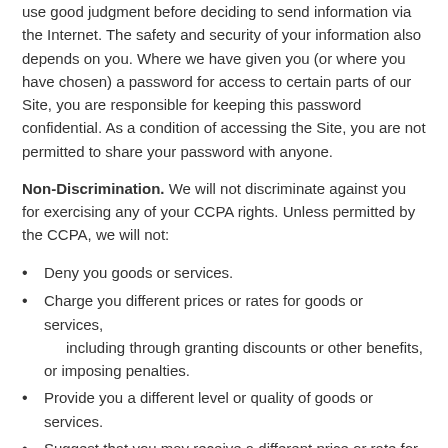use good judgment before deciding to send information via the Internet. The safety and security of your information also depends on you. Where we have given you (or where you have chosen) a password for access to certain parts of our Site, you are responsible for keeping this password confidential. As a condition of accessing the Site, you are not permitted to share your password with anyone.
Non-Discrimination. We will not discriminate against you for exercising any of your CCPA rights. Unless permitted by the CCPA, we will not:
Deny you goods or services.
Charge you different prices or rates for goods or services, including through granting discounts or other benefits, or imposing penalties.
Provide you a different level or quality of goods or services.
Suggest that you may receive a different price or rate for goods or services or a different level or quality of goods or services.